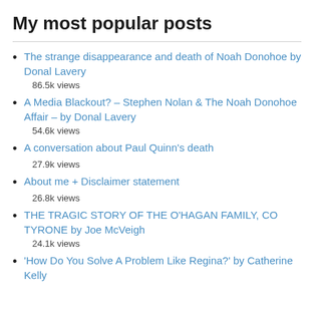My most popular posts
The strange disappearance and death of Noah Donohoe by Donal Lavery
86.5k views
A Media Blackout? – Stephen Nolan & The Noah Donohoe Affair – by Donal Lavery
54.6k views
A conversation about Paul Quinn's death
27.9k views
About me + Disclaimer statement
26.8k views
THE TRAGIC STORY OF THE O'HAGAN FAMILY, CO TYRONE by Joe McVeigh
24.1k views
'How Do You Solve A Problem Like Regina?' by Catherine Kelly